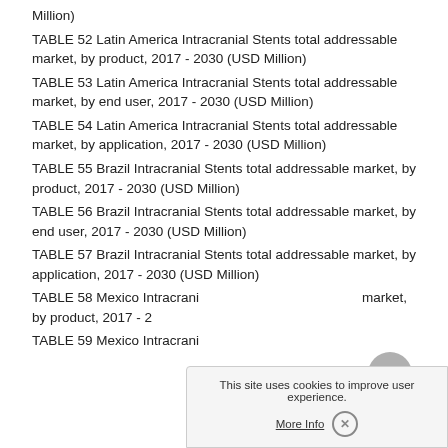Million)
TABLE 52 Latin America Intracranial Stents total addressable market, by product, 2017 - 2030 (USD Million)
TABLE 53 Latin America Intracranial Stents total addressable market, by end user, 2017 - 2030 (USD Million)
TABLE 54 Latin America Intracranial Stents total addressable market, by application, 2017 - 2030 (USD Million)
TABLE 55 Brazil Intracranial Stents total addressable market, by product, 2017 - 2030 (USD Million)
TABLE 56 Brazil Intracranial Stents total addressable market, by end user, 2017 - 2030 (USD Million)
TABLE 57 Brazil Intracranial Stents total addressable market, by application, 2017 - 2030 (USD Million)
TABLE 58 Mexico Intracranial Stents total addressable market, by product, 2017 - 2030 (USD Million)
TABLE 59 Mexico Intracranial Stents total addressable market, by end user, 2017 - 2030 (USD Million)